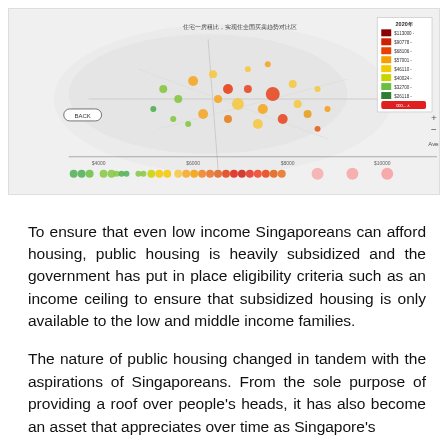[Figure (map): Interactive map showing average price distribution of Singapore public housing (HDB) with color-coded dots across different neighborhoods. Legend shows price ranges from approximately $26k to $113k+ with a gradient from dark green to red. A 'BACK' button and zoom controls (+/-) are visible. An axis at the bottom shows price distribution from ~$4000 to $10000. Colored dots are scattered along a price axis at the bottom.]
To ensure that even low income Singaporeans can afford housing, public housing is heavily subsidized and the government has put in place eligibility criteria such as an income ceiling to ensure that subsidized housing is only available to the low and middle income families.
The nature of public housing changed in tandem with the aspirations of Singaporeans. From the sole purpose of providing a roof over people's heads, it has also become an asset that appreciates over time as Singapore's